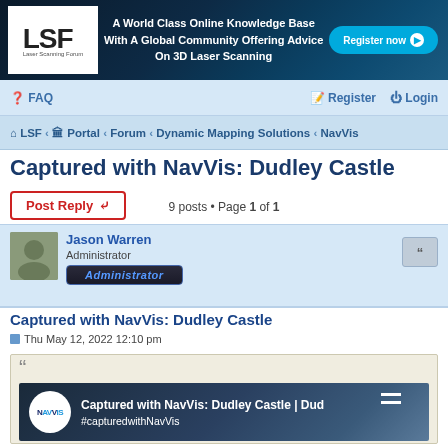[Figure (screenshot): LSF Laser Scanning Forum banner with logo, tagline 'A World Class Online Knowledge Base With A Global Community Offering Advice On 3D Laser Scanning', and Register now button]
FAQ   Register   Login
LSF ‹ Portal ‹ Forum ‹ Dynamic Mapping Solutions ‹ NavVis
Captured with NavVis: Dudley Castle
Post Reply
9 posts • Page 1 of 1
Jason Warren
Administrator
Administrator
Captured with NavVis: Dudley Castle
Thu May 12, 2022 12:10 pm
[Figure (screenshot): NavVis video thumbnail showing 'Captured with NavVis: Dudley Castle' title and #capturedwithNavVis hashtag with NavVis logo]